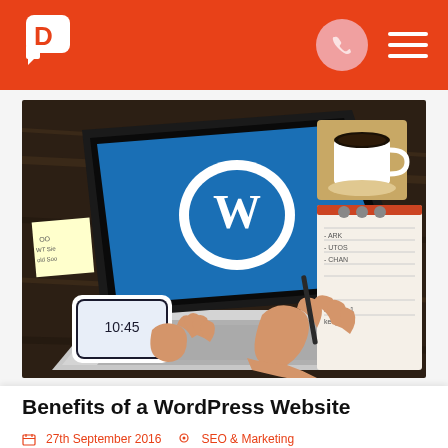Benefits of a WordPress Website - Blog
[Figure (photo): Overhead view of a person's hands typing on a MacBook laptop showing the WordPress logo on the screen. A smartphone showing 10:45, a coffee cup, sticky notes, and a notebook with writing are also visible on the dark wooden desk.]
Benefits of a WordPress Website
27th September 2016  SEO & Marketing